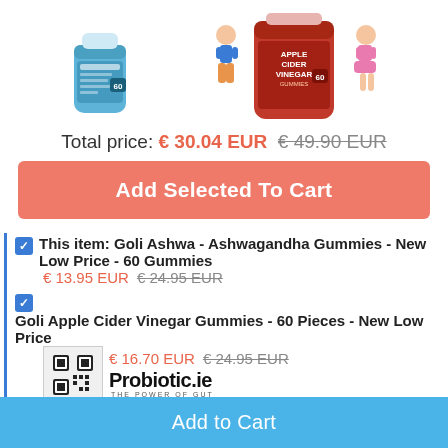[Figure (photo): Two product images: Goli Ashwa Ashwagandha Gummies blue bottle on the left, and Goli Apple Cider Vinegar Gummies red bottle with cartoon characters on the right]
Total price: € 30.04 EUR  € 49.90 EUR
Add Selected To Cart
✓ This item: Goli Ashwa - Ashwagandha Gummies - New Low Price - 60 Gummies  € 13.95 EUR  € 24.95 EUR
✓ Goli Apple Cider Vinegar Gummies - 60 Pieces - New Low Price  € 16.70 EUR  € 24.95 EUR
[Figure (other): QR code]
[Figure (logo): Probiotic.ie - THE POWER OF GUT]
d us on Facebook
Add to Cart